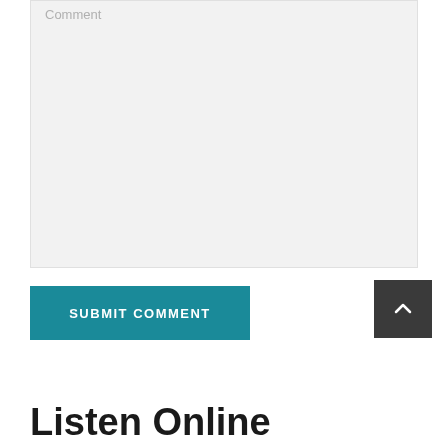[Figure (other): Comment text area input box with placeholder text 'Comment', light gray background]
SUBMIT COMMENT
[Figure (other): Dark gray scroll-to-top button with upward chevron arrow]
Listen Online